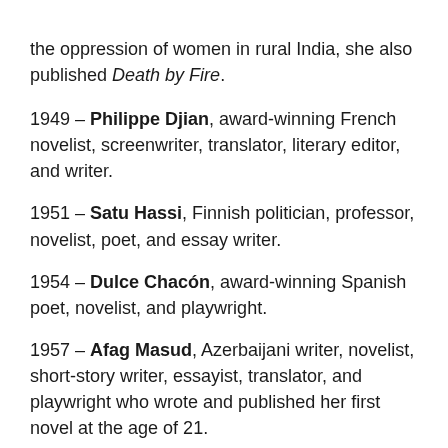the oppression of women in rural India, she also published Death by Fire.
1949 – Philippe Djian, award-winning French novelist, screenwriter, translator, literary editor, and writer.
1951 – Satu Hassi, Finnish politician, professor, novelist, poet, and essay writer.
1954 – Dulce Chacón, award-winning Spanish poet, novelist, and playwright.
1957 – Afag Masud, Azerbaijani writer, novelist, short-story writer, essayist, translator, and playwright who wrote and published her first novel at the age of 21.
1959 – Imbi Paju, Estonian-born journalist, writer, and filmmaker who now lives in Finland.